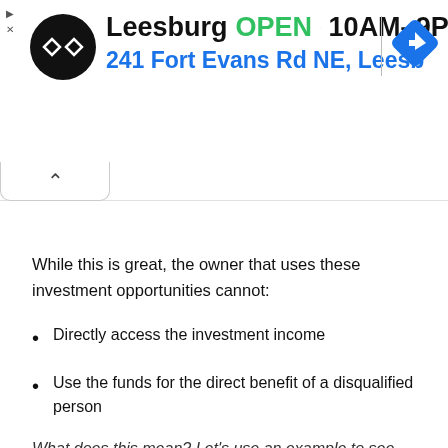[Figure (screenshot): Advertisement banner showing a store locator for Leesburg location, with logo, OPEN status, hours 10AM-9PM, address 241 Fort Evans Rd NE, Leesb, and navigation icons]
While this is great, the owner that uses these investment opportunities cannot:
Directly access the investment income
Use the funds for the direct benefit of a disqualified person
What does this mean? Let's use an example to see how this